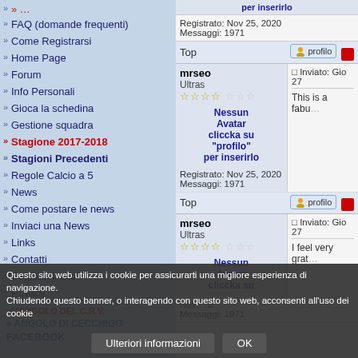FAQ (domande frequenti)
Come Registrarsi
Home Page
Forum
Info Personali
Gioca la schedina
Gestione squadra
Stagione 2017-2018
Stagioni Precedenti
Regole Calcio a 5
News
Come postare le news
Inviaci una News
Links
Contatti
Segnala il sito
Privacy
L'ANGOLO DEL C.R.V.
ANGOLO DI CECCHIGO
FACEBOOK
| User | Message |
| --- | --- |
| mrseo
Ultras
☆☆☆☆☆☆☆
Nessun Avatar clicca su "profilo" per inserirlo
Registrato: Nov 25, 2020
Messaggi: 1971 | Inviato: Gio 27
This is a fabu... |
| mrseo
Ultras
☆☆☆☆☆☆☆
Nessun Avatar clicca su "profilo" per inserirlo
Registrato: Nov 25, 2020
Messaggi: 1971 | Inviato: Gio 27
I feel very grat... |
Questo sito web utilizza i cookie per assicurarti una migliore esperienza di navigazione. Chiudendo questo banner, o interagendo con questo sito web, acconsenti all'uso dei cookie
Ulteriori informazioni
OK